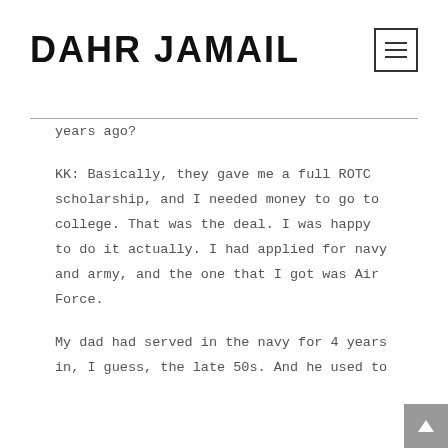DAHR JAMAIL
years ago?
KK: Basically, they gave me a full ROTC scholarship, and I needed money to go to college. That was the deal. I was happy to do it actually. I had applied for navy and army, and the one that I got was Air Force.
My dad had served in the navy for 4 years in, I guess, the late 50s. And he used to